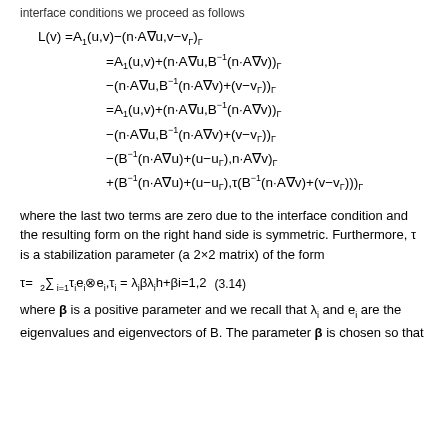interface conditions we proceed as follows
where the last two terms are zero due to the interface condition and the resulting form on the right hand side is symmetric. Furthermore, τ is a stabilization parameter (a 2×2 matrix) of the form
where β is a positive parameter and we recall that λ_i and e_i are the eigenvalues and eigenvectors of B. The parameter β is chosen so that